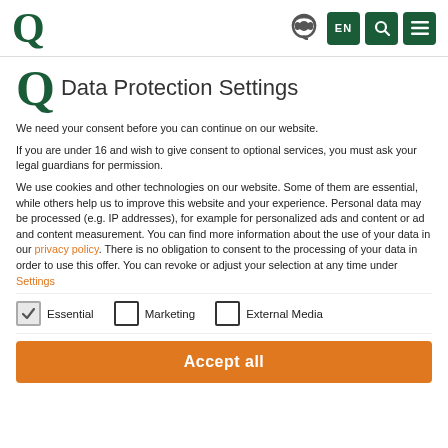Q | EN | search | menu
Q Data Protection Settings
We need your consent before you can continue on our website.
If you are under 16 and wish to give consent to optional services, you must ask your legal guardians for permission.
We use cookies and other technologies on our website. Some of them are essential, while others help us to improve this website and your experience. Personal data may be processed (e.g. IP addresses), for example for personalized ads and content or ad and content measurement. You can find more information about the use of your data in our privacy policy. There is no obligation to consent to the processing of your data in order to use this offer. You can revoke or adjust your selection at any time under Settings
Essential (checked)
Marketing (unchecked)
External Media (unchecked)
Accept all